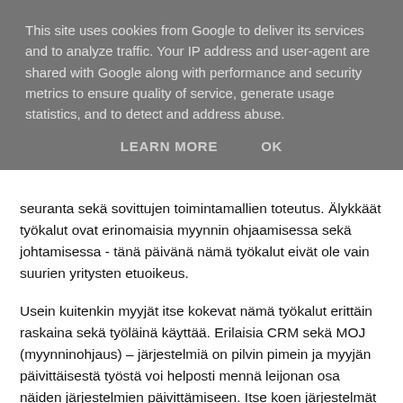This site uses cookies from Google to deliver its services and to analyze traffic. Your IP address and user-agent are shared with Google along with performance and security metrics to ensure quality of service, generate usage statistics, and to detect and address abuse.
LEARN MORE    OK
seuranta sekä sovittujen toimintamallien toteutus. Älykkäät työkalut ovat erinomaisia myynnin ohjaamisessa sekä johtamisessa - tänä päivänä nämä työkalut eivät ole vain suurien yritysten etuoikeus.
Usein kuitenkin myyjät itse kokevat nämä työkalut erittäin raskaina sekä työläinä käyttää. Erilaisia CRM sekä MOJ (myynninohjaus) – järjestelmiä on pilvin pimein ja myyjän päivittäisestä työstä voi helposti mennä leijonan osa näiden järjestelmien päivittämiseen. Itse koen järjestelmät hieman kaksijakoisina. Lähtökohtaisesti kyllä, ne ovat erittäin hyviä ja helpottavat useita asioita, mutta jos myyjän työpäivä täyttyy järjestelmiin raportoinnista, on jotain tehty myynnin ohjaamisessa erittäin väärin.